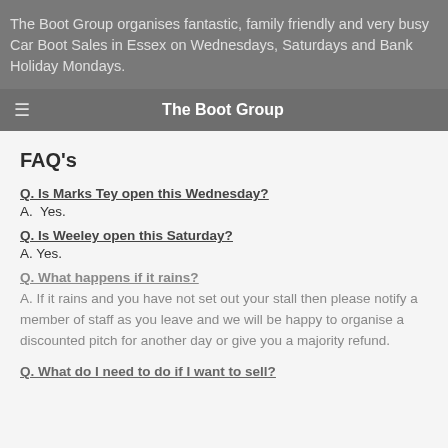The Boot Group organises fantastic, family friendly and very busy Car Boot Sales in Essex on Wednesdays, Saturdays and Bank Holiday Mondays.
The Boot Group
FAQ's
Q. Is Marks Tey open this Wednesday?
A.  Yes.
Q. Is Weeley open this Saturday?
A. Yes.
Q. What happens if it rains?
A. If it rains and you have not set out your stall then please notify a member of staff as you leave and we will be happy to organise a discounted pitch for another day or give you a majority refund.
Q. What do I need to do if I want to sell?